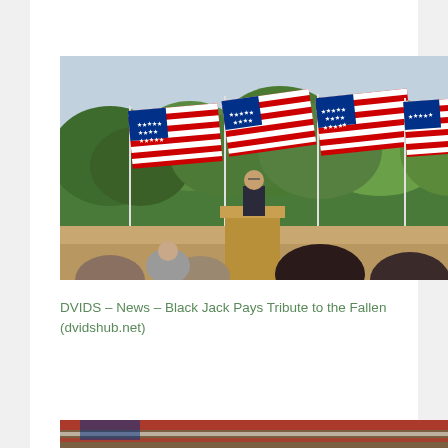[Figure (photo): Military ceremony with five large American flags on poles waving in the wind, green trees in background, military officer speaking at a wooden podium, audience members visible in foreground]
DVIDS – News – Black Jack Pays Tribute to the Fallen (dvidshub.net)
[Figure (photo): Partial view of another photo, appears to show flags or military ceremony scene]